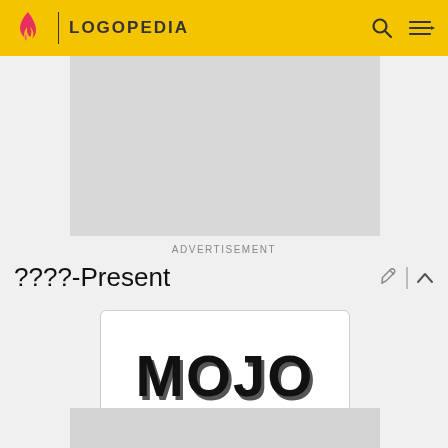LOGOPEDIA
[Figure (other): Advertisement placeholder - grey rectangle]
ADVERTISEMENT
????-Present
[Figure (logo): MOJO logo in bold black text with slight shadow on white background with rounded border]
[Figure (other): Advertisement placeholder - grey rectangle at bottom]